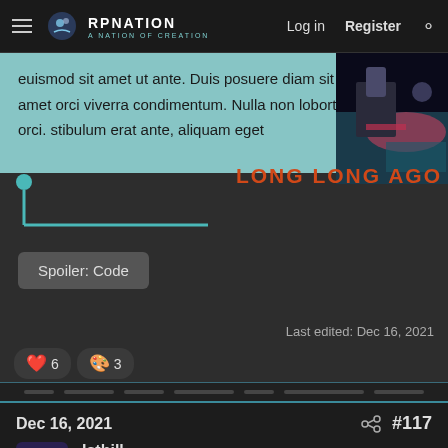RP Nation — Log in | Register
euismod sit amet ut ante. Duis posuere diam sit amet orci viverra condimentum. Nulla non lobortis orci. stibulum erat ante, aliquam eget
[Figure (photo): Dark stylized game screenshot with character and red/blue lighting]
LONG LONG AGO
Spoiler: Code
Last edited: Dec 16, 2021
❤ 6  🎨 3
Dec 16, 2021  #117
Isthill
Perhaps short of a mochie